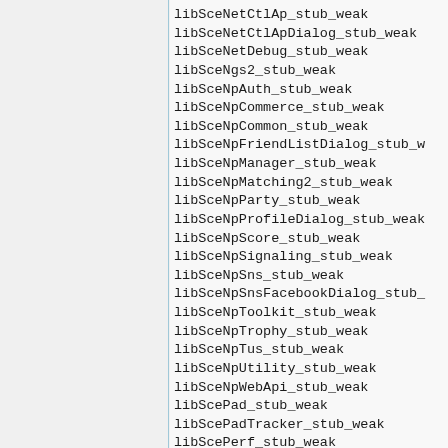libSceNetCtlAp_stub_weak
libSceNetCtlApDialog_stub_weak
libSceNetDebug_stub_weak
libSceNgs2_stub_weak
libSceNpAuth_stub_weak
libSceNpCommerce_stub_weak
libSceNpCommon_stub_weak
libSceNpFriendListDialog_stub_weak
libSceNpManager_stub_weak
libSceNpMatching2_stub_weak
libSceNpParty_stub_weak
libSceNpProfileDialog_stub_weak
libSceNpScore_stub_weak
libSceNpSignaling_stub_weak
libSceNpSns_stub_weak
libSceNpSnsFacebookDialog_stub_weak
libSceNpToolkit_stub_weak
libSceNpTrophy_stub_weak
libSceNpTus_stub_weak
libSceNpUtility_stub_weak
libSceNpWebApi_stub_weak
libScePad_stub_weak
libScePadTracker_stub_weak
libScePerf_stub_weak
libScePlayGo_stub_weak